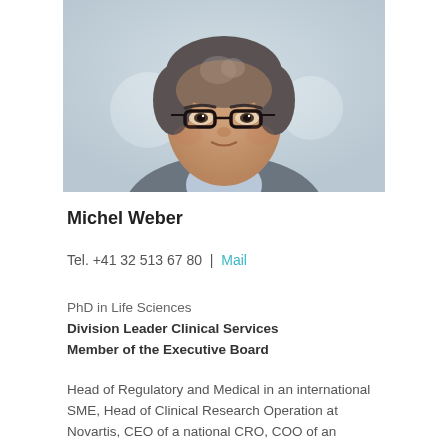[Figure (photo): Professional headshot of Michel Weber, a middle-aged man with grey-streaked dark hair and glasses, wearing a grey blazer and light blue shirt, against a blurred light background.]
Michel Weber
Tel. +41 32 513 67 80 | Mail
PhD in Life Sciences
Division Leader Clinical Services
Member of the Executive Board
Head of Regulatory and Medical in an international SME, Head of Clinical Research Operation at Novartis, CEO of a national CRO, COO of an international CRO, Managing